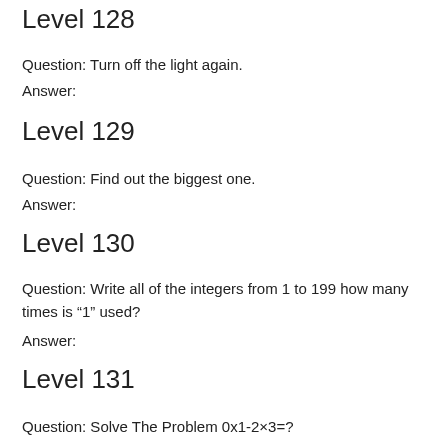Level 128
Question: Turn off the light again.
Answer:
Level 129
Question: Find out the biggest one.
Answer:
Level 130
Question: Write all of the integers from 1 to 199 how many times is “1” used?
Answer:
Level 131
Question: Solve The Problem 0x1-2×3=?